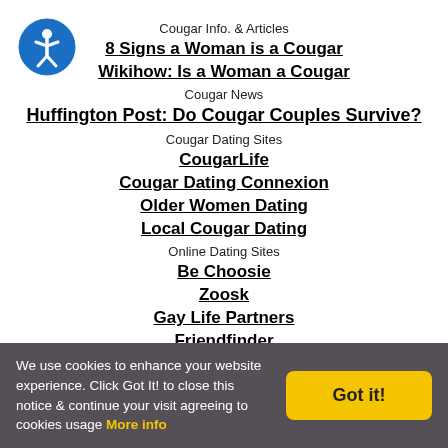[Figure (logo): Accessibility icon: blue circle with white person figure]
Cougar Info. & Articles
8 Signs a Woman is a Cougar
Wikihow: Is a Woman a Cougar
Cougar News
Huffington Post: Do Cougar Couples Survive?
Cougar Dating Sites
CougarLife
Cougar Dating Connexion
Older Women Dating
Local Cougar Dating
Online Dating Sites
Be Choosie
Zoosk
Gay Life Partners
Friendfinder
Singles Online
Local Personals Online
Dating Buddies
Sweet And Casual
We use cookies to enhance your website experience. Click Got It! to close this notice & continue your visit agreeing to cookies usage More info